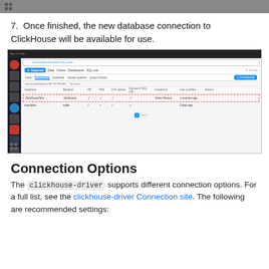[Figure (screenshot): Top bar gray strip with grid icon]
7. Once finished, the new database connection to ClickHouse will be available for use.
[Figure (screenshot): Screenshot of Superset database connections page showing ClickHouseTest connection highlighted with a red dashed border]
Connection Options
The clickhouse-driver supports different connection options. For a full list, see the clickhouse-driver Connection site. The following are recommended settings: